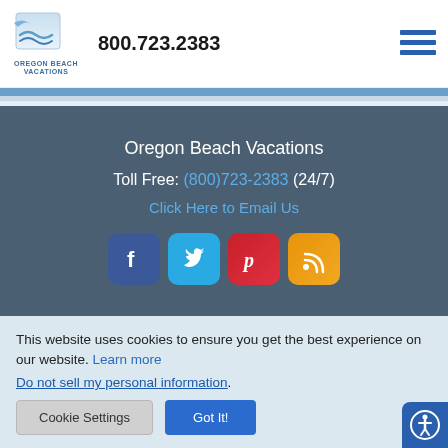[Figure (logo): Oregon Beach Vacations logo with wave graphic and text]
800.723.2383
[Figure (illustration): Hamburger menu icon (three horizontal lines)]
Oregon Beach Vacations
Toll Free: (800)723-2383 (24/7)
Click Here to Email Us
[Figure (illustration): Social media icons: Facebook, Twitter, Pinterest, RSS feed]
This website uses cookies to ensure you get the best experience on our website. Learn more
Do not sell my personal information.
Cookie Settings   Got It!